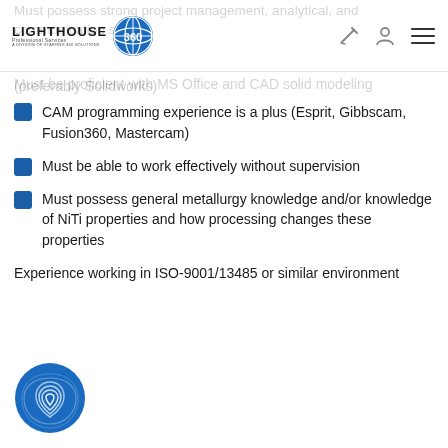Lighthouse Professional Services 360 - A Division of Staffing 360 Solutions
Must possess strong project management, analytical, and communication sk...
Must be proficient with MS Office and CAD solid modeling (preferably Solidworks)
CAM programming experience is a plus (Esprit, Gibbscam, Fusion360, Mastercam)
Must be able to work effectively without supervision
Must possess general metallurgy knowledge and/or knowledge of NiTi properties and how processing changes these properties
Experience working in ISO-9001/13485 or similar environment
[Figure (logo): Circular blue logo with fingerprint/swirl design at bottom left]